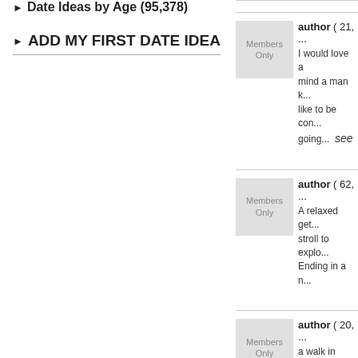Date Ideas by Age (95,378)
ADD MY FIRST DATE IDEA
author ( 21, ... ) I would love a man k... like to be con... going...  see
author ( 62, ... ) A relaxed get... stroll to explo... Ending in a n...
author ( 20, ... ) a walk in the... out to eat in s...